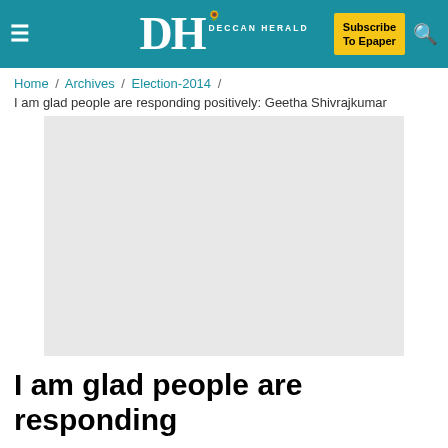Deccan Herald — Subscribe To Epaper
Home / Archives / Election-2014 /
I am glad people are responding positively: Geetha Shivrajkumar
[Figure (photo): Placeholder image, light grey rectangle]
I am glad people are responding